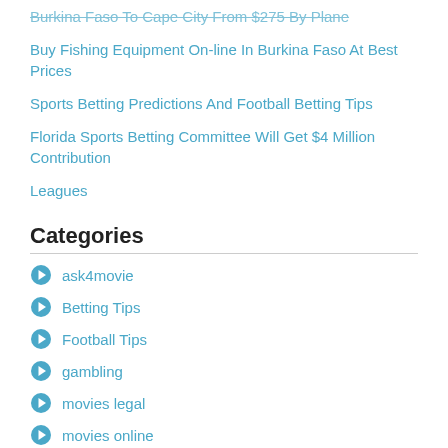Burkina Faso To Cape City From $275 By Plane
Buy Fishing Equipment On-line In Burkina Faso At Best Prices
Sports Betting Predictions And Football Betting Tips
Florida Sports Betting Committee Will Get $4 Million Contribution
Leagues
Categories
ask4movie
Betting Tips
Football Tips
gambling
movies legal
movies online
poker
slot machines
Soccer Tips
Sports Betting